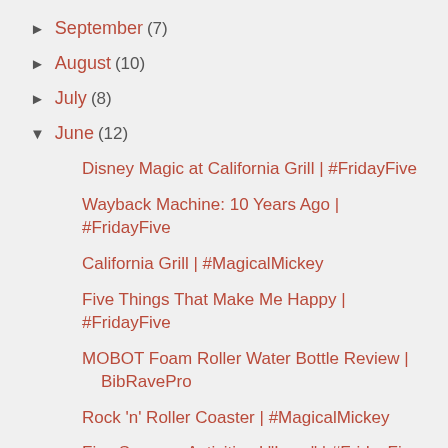► September (7)
► August (10)
► July (8)
▼ June (12)
Disney Magic at California Grill | #FridayFive
Wayback Machine: 10 Years Ago | #FridayFive
California Grill | #MagicalMickey
Five Things That Make Me Happy | #FridayFive
MOBOT Foam Roller Water Bottle Review | BibRavePro
Rock 'n' Roller Coaster | #MagicalMickey
Five Summer Activities I "Love" | #FridayFive
Five Summer Activities I Love | #FridayFive
The Red Tag | #MagicalMickey
The Power of the Group - Jeff Galloway Training an...